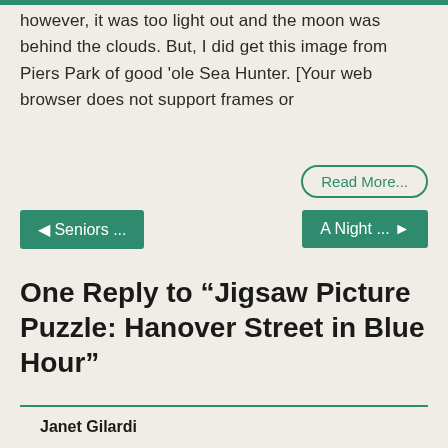however, it was too light out and the moon was behind the clouds. But, I did get this image from Piers Park of good ‘ole Sea Hunter. [Your web browser does not support frames or
Read More...
◄ Seniors ...
A Night ... ►
One Reply to “Jigsaw Picture Puzzle: Hanover Street in Blue Hour”
Janet Gilardi
Sun, Apr. 30, 2017 at 11:07 am
Thanks Matt, enjoyable as usual !!!
Comments are closed.